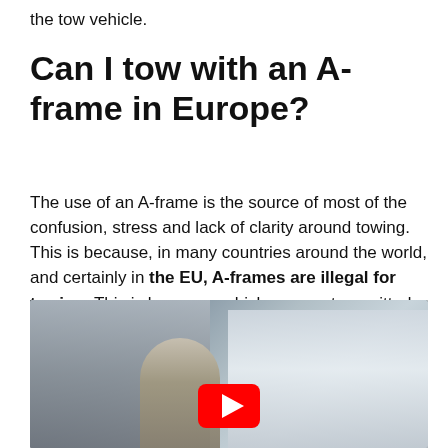the tow vehicle.
Can I tow with an A-frame in Europe?
The use of an A-frame is the source of most of the confusion, stress and lack of clarity around towing. This is because, in many countries around the world, and certainly in the EU, A-frames are illegal for towing. This is because vehicles are not permitted to tow other vehicles.
[Figure (photo): A man leaning over the front of a white car in a driveway outside a house, with a YouTube play button overlay indicating an embedded video.]